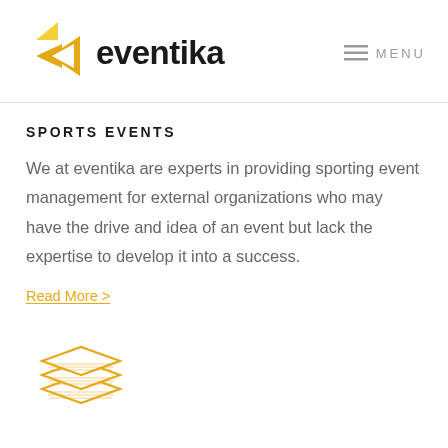[Figure (logo): Eventika logo: a yellow/gold arrow icon pointing left made of two triangular chevron shapes, followed by the word 'eventika' in bold dark text]
≡ MENU
SPORTS EVENTS
We at eventika are experts in providing sporting event management for external organizations who may have the drive and idea of an event but lack the expertise to develop it into a success.
Read More >
[Figure (illustration): Orange/gold outline icon of stacked layers or sheets resembling a stack of papers or pancakes, shown with hatching detail]